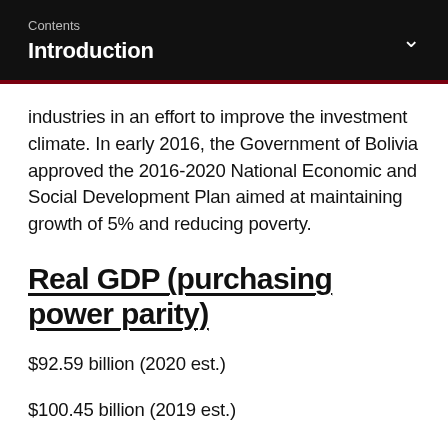Contents
Introduction
industries in an effort to improve the investment climate. In early 2016, the Government of Bolivia approved the 2016-2020 National Economic and Social Development Plan aimed at maintaining growth of 5% and reducing poverty.
Real GDP (purchasing power parity)
$92.59 billion (2020 est.)
$100.45 billion (2019 est.)